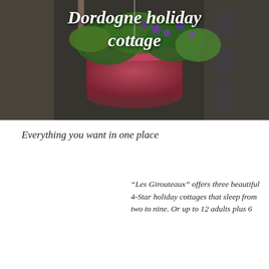[Figure (photo): Photograph of a red/pink hanging basket with green and purple flowers mounted on a stone wall, with a building with windows visible in the background. The image has a dark overlay.]
Dordogne holiday cottage
Everything you want in one place
“Les Girouteaux” offers three beautiful 4-Star holiday cottages that sleep from two to nine. Or up to 12 adults plus 6